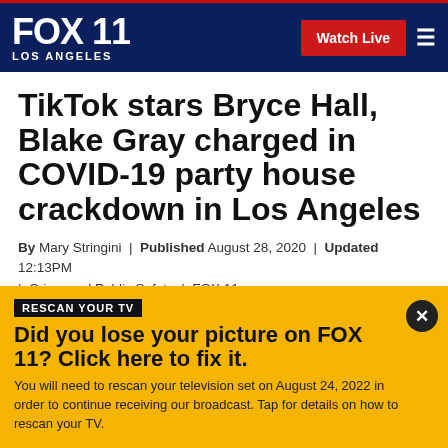FOX 11 LOS ANGELES | Watch Live
TikTok stars Bryce Hall, Blake Gray charged in COVID-19 party house crackdown in Los Angeles
By Mary Stringini | Published August 28, 2020 | Updated 12:13PM | Crime and Public Safety | FOX 11
[Figure (other): Social media sharing icons: Facebook, Twitter, Email, Share]
RESCAN YOUR TV
Did you lose your picture on FOX 11? Click here to fix it.
You will need to rescan your television set on August 24, 2022 in order to continue receiving our broadcast. Tap for details on how to rescan your TV.